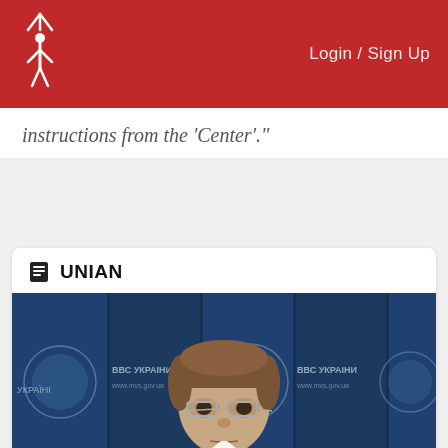Login / Sign Up
instructions from the 'Center'."
UNIAN
[Figure (photo): A man with glasses in front of a blue police backdrop with Ukrainian Ministry of Internal Affairs logos]